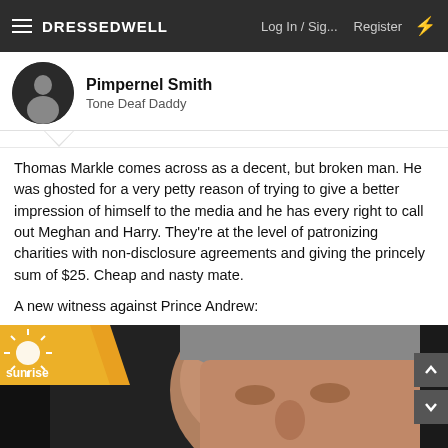DRESSEDWELL | Log In / Sig... | Register
Pimpernel Smith
Tone Deaf Daddy
Thomas Markle comes across as a decent, but broken man. He was ghosted for a very petty reason of trying to give a better impression of himself to the media and he has every right to call out Meghan and Harry. They're at the level of patronizing charities with non-disclosure agreements and giving the princely sum of $25. Cheap and nasty mate.

A new witness against Prince Andrew:
[Figure (screenshot): Sunrise TV news screenshot showing a close-up of Prince Andrew's face with 'NEW' text overlay in red and Sunrise logo in top-left corner]